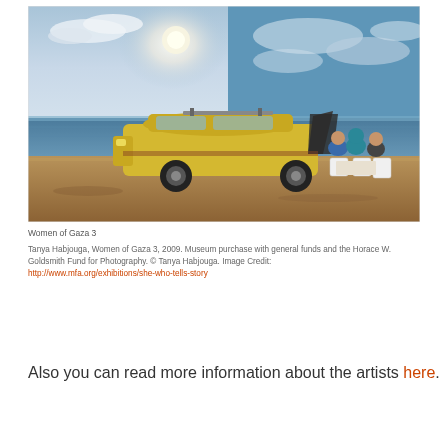[Figure (photo): Photograph showing a yellow hatchback car with its hood open on a sandy beach. Several people sit in plastic chairs around a table near the car. The background shows the sea and a partly cloudy sky.]
Women of Gaza 3
Tanya Habjouga, Women of Gaza 3, 2009. Museum purchase with general funds and the Horace W. Goldsmith Fund for Photography. © Tanya Habjouga. Image Credit: http://www.mfa.org/exhibitions/she-who-tells-story
Also you can read more information about the artists here.